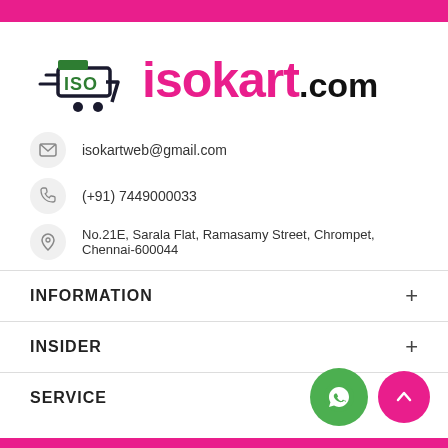[Figure (logo): isokart.com logo with shopping cart icon in green/dark green and pink text 'isokart' with black '.com']
isokartweb@gmail.com
(+91) 7449000033
No.21E, Sarala Flat, Ramasamy Street, Chrompet, Chennai-600044
INFORMATION
INSIDER
SERVICE